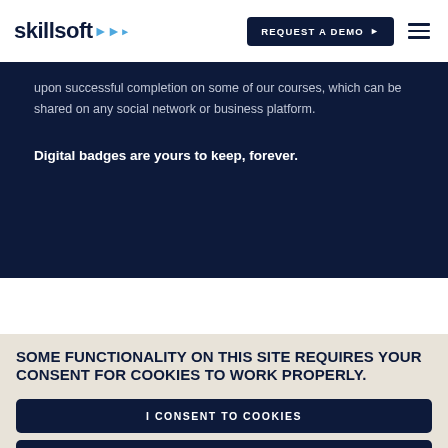skillsoft | REQUEST A DEMO
upon successful completion on some of our courses, which can be shared on any social network or business platform.
Digital badges are yours to keep, forever.
SOME FUNCTIONALITY ON THIS SITE REQUIRES YOUR CONSENT FOR COOKIES TO WORK PROPERLY.
I CONSENT TO COOKIES
I WANT MORE INFORMATION